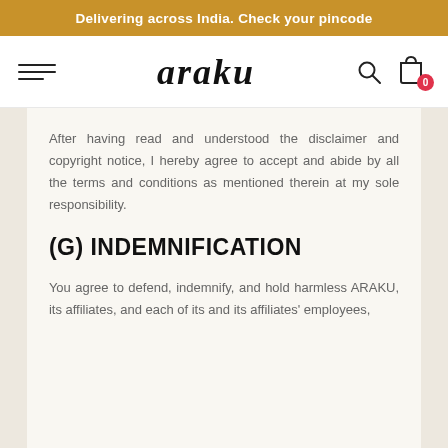Delivering across India. Check your pincode
[Figure (logo): Araku brand logo with hamburger menu, search icon, and shopping cart with badge showing 0]
After having read and understood the disclaimer and copyright notice, I hereby agree to accept and abide by all the terms and conditions as mentioned therein at my sole responsibility.
(G) INDEMNIFICATION
You agree to defend, indemnify, and hold harmless ARAKU, its affiliates, and each of its and its affiliates' employees,